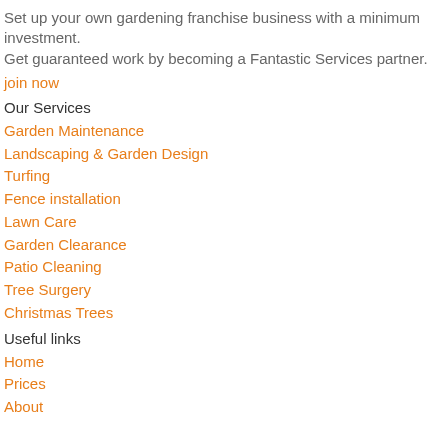Set up your own gardening franchise business with a minimum investment.
Get guaranteed work by becoming a Fantastic Services partner.
join now
Our Services
Garden Maintenance
Landscaping & Garden Design
Turfing
Fence installation
Lawn Care
Garden Clearance
Patio Cleaning
Tree Surgery
Christmas Trees
Useful links
Home
Prices
About